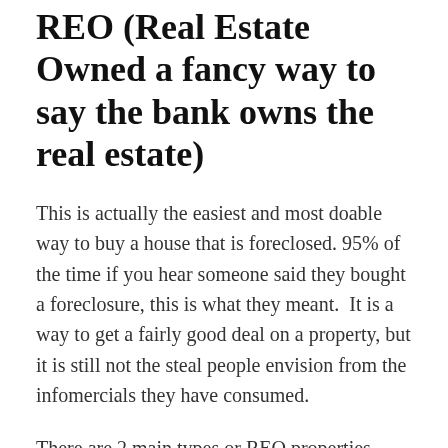REO (Real Estate Owned a fancy way to say the bank owns the real estate)
This is actually the easiest and most doable way to buy a house that is foreclosed. 95% of the time if you hear someone said they bought a foreclosure, this is what they meant.  It is a way to get a fairly good deal on a property, but it is still not the steal people envision from the infomercials they have consumed.
There are 2 main types or REO properties. Ones that have been listed with an agent, and ones that have not. I will cover the listed ones first, because it is pretty straight forward. Each bank usually has a local agent that they list their REO properties with, and the properties are